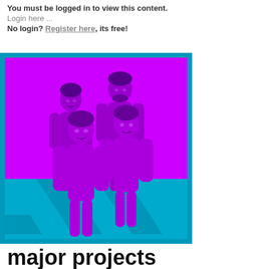You must be logged in to view this content.
Login here ...
No login? Register here, its free!
[Figure (illustration): Illustration of four figures/people standing on a blue checkered floor against a magenta/purple background. The figures are rendered in a purple/dark magenta color scheme.]
major projects